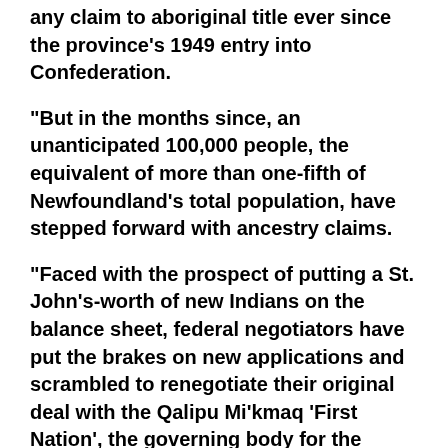any claim to aboriginal title ever since the province's 1949 entry into Confederation.
“But in the months since, an unanticipated 100,000 people, the equivalent of more than one-fifth of Newfoundland’s total population, have stepped forward with ancestry claims.
“Faced with the prospect of putting a St. John’s-worth of new Indians on the balance sheet, federal negotiators have put the brakes on new applications and scrambled to renegotiate their original deal with the Qalipu Mi’kmaq ‘First Nation’, the governing body for the Newfoundland Mi’kmaq.
“Under the original Ottawa-approved terms of the Qalipu settlement agreement, would-be Mi’kmaq needed only to provide some evidence of aboriginal